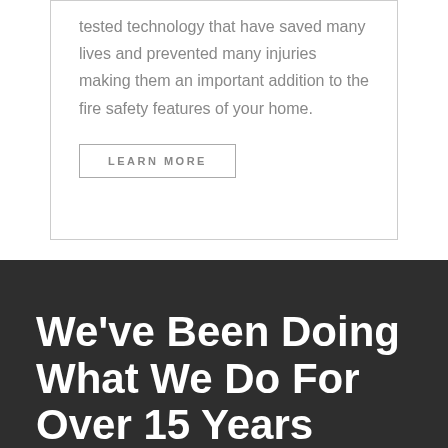tested technology that have saved many lives and prevented many injuries making them an important addition to the fire safety features of your home.
LEARN MORE
We've Been Doing What We Do For Over 15 Years